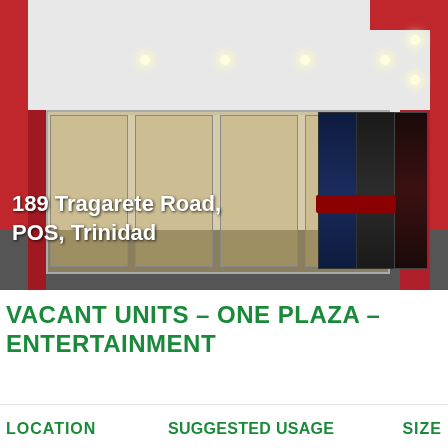[Figure (photo): Interior photograph of a commercial retail space with red walls, glass storefront panels, recessed ceiling lights, and movie poster displays. Text overlay reads '189 Tragarete Road, POS, Trinidad'.]
VACANT UNITS – ONE PLAZA – ENTERTAINMENT
LOCATION    SUGGESTED USAGE  SIZE